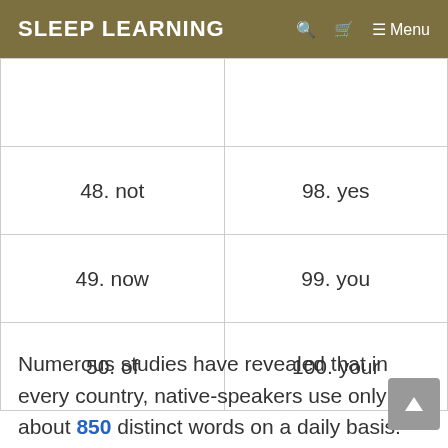SLEEP LEARNING
|  |  |
| 48. not | 98. yes |
| 49. now | 99. you |
| 50. of | 100. your |
Numerous studies have revealed that in every country, native-speakers use only about 850 distinct words on a daily basis. Studying these